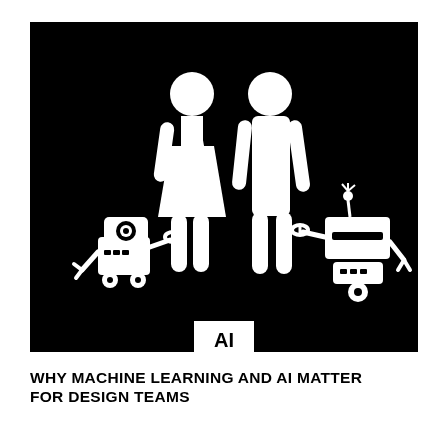[Figure (illustration): Black background illustration showing two human stick figures (one female in dress, one male) each accompanied by a robot. The female figure on the left has a small round robot with a camera eye and wrench arm. The male figure on the right holds a wrench connected to a larger boxy robot on wheels. An 'AI' badge/label appears at the bottom center of the image overlapping the border.]
WHY MACHINE LEARNING AND AI MATTER FOR DESIGN TEAMS